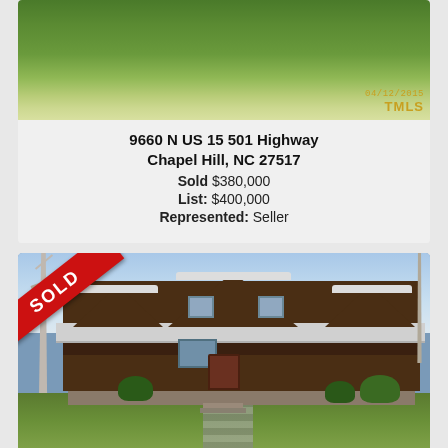[Figure (photo): Aerial/landscape photo of green grassy hillside property with TMLS watermark dated 04/12/2015]
9660 N US 15 501 Highway
Chapel Hill, NC 27517
Sold $380,000
List: $400,000
Represented: Seller
[Figure (photo): Exterior photo of large brown log-style home with wrap-around porch, stone steps, and SOLD banner in upper left corner]